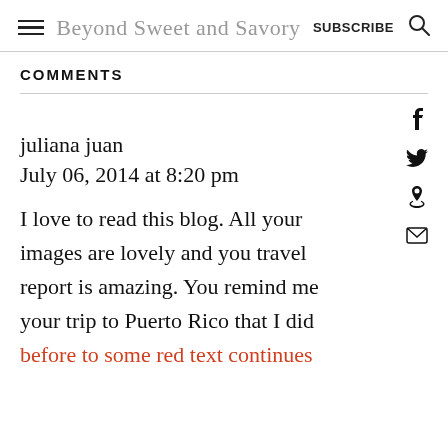Beyond Sweet and Savory | SUBSCRIBE
COMMENTS
juliana juan
July 06, 2014 at 8:20 pm

I love to read this blog. All your images are lovely and you travel report is amazing. You remind me your trip to Puerto Rico that I did before to [red text continues below]